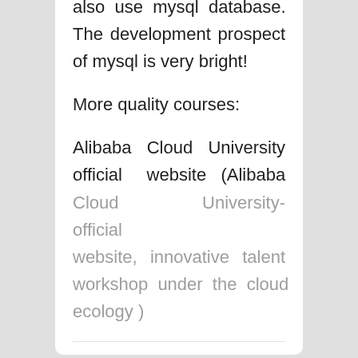also use mysql database. The development prospect of mysql is very bright!
More quality courses:
Alibaba Cloud University official website (Alibaba Cloud University-official website, innovative talent workshop under the cloud ecology )